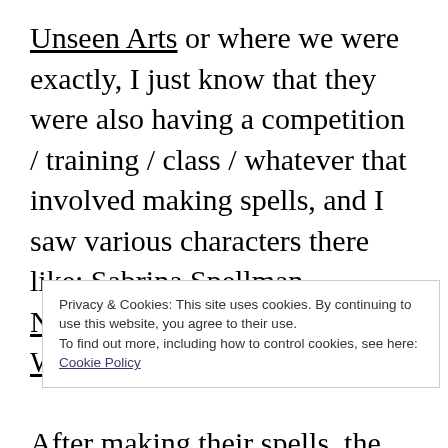Unseen Arts or where we were exactly, I just know that they were also having a competition / training / class / whatever that involved making spells, and I saw various characters there like: Sabrina Spellman, Nicholas Scratch, and The Weird Sisters. After making their spells, the spells were judged, and then Sabrina and / or I were giving t… c… s… she called out, some of the others started to
Privacy & Cookies: This site uses cookies. By continuing to use this website, you agree to their use. To find out more, including how to control cookies, see here: Cookie Policy
Close and accept